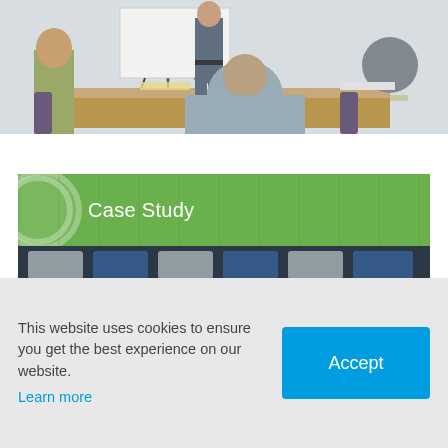[Figure (photo): Meeting room photo showing people seated at a table with a presenter standing, viewed from behind a participant in the foreground]
[Figure (photo): Case Study card with green banner reading 'Case Study' and aerial view of trucks/vehicles with title 'Removing Fragility from the Supply Chain']
This website uses cookies to ensure you get the best experience on our website. Learn more
Accept